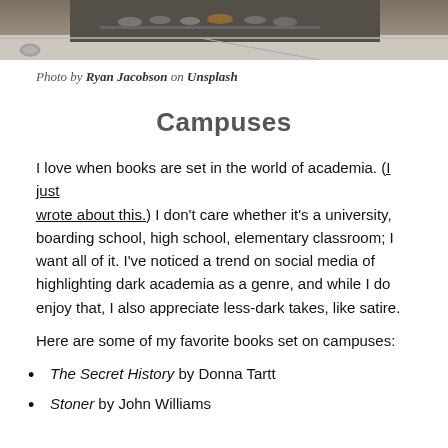[Figure (photo): Aerial/overhead photo of bicycles parked in a campus bike rack area, with concrete sidewalk visible]
Photo by Ryan Jacobson on Unsplash
Campuses
I love when books are set in the world of academia. (I just wrote about this.) I don't care whether it's a university, boarding school, high school, elementary classroom; I want all of it. I've noticed a trend on social media of highlighting dark academia as a genre, and while I do enjoy that, I also appreciate less-dark takes, like satire.
Here are some of my favorite books set on campuses:
The Secret History by Donna Tartt
Stoner by John Williams